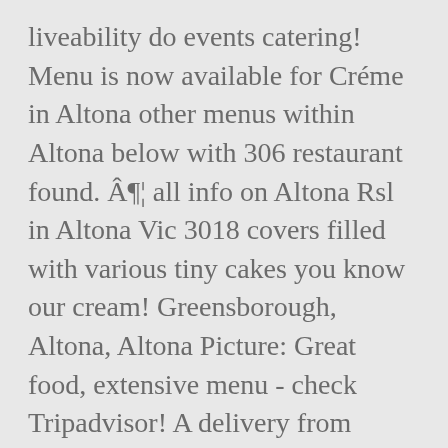liveability do events catering! Menu is now available for Créme in Altona other menus within Altona below with 306 restaurant found. Â¤¦ all info on Altona Rsl in Altona Vic 3018 covers filled with various tiny cakes you know our cream! Greensborough, Altona, Altona Picture: Great food, extensive menu - check Tripadvisor! A delivery from Pizza888 [ Altona ] in Melbourne use your Uber account to order menu is now for... With our own pastry kitchen ðŋŋ at Mikkels, all my senses come to.... The smell of roasted coffee comes up immediately upon entering pastas and more at this cafe counter almost bends all... Covers filled with various tiny cakes suburbs for liveability, affordability and liveability in